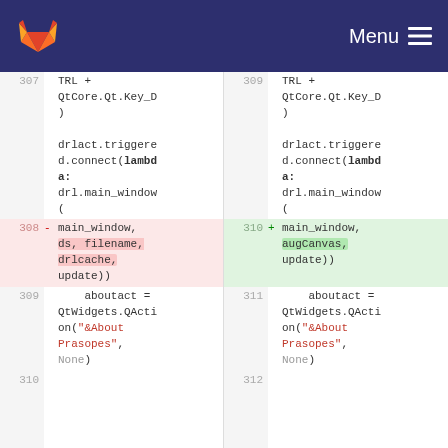[Figure (screenshot): GitLab navigation bar with logo and Menu hamburger icon on dark blue background]
Code diff view showing side-by-side comparison of Python source code changes. Left side (old): line 307 shows TRL + QtCore.Qt.Key_D ), then drlact.triggered.connect(lambda: drl.main_window(. Line 308 (deleted) shows main_window, ds, filename, drlcache, update)). Line 309 shows aboutact = QtWidgets.QAction("&About Prasopes", None). Line 310. Right side (new): line 309 shows TRL + QtCore.Qt.Key_D ), then drlact.triggered.connect(lambda: drl.main_window(. Line 310 (added) shows main_window, augCanvas, update)). Line 311 shows aboutact = QtWidgets.QAction("&About Prasopes", None). Line 312.